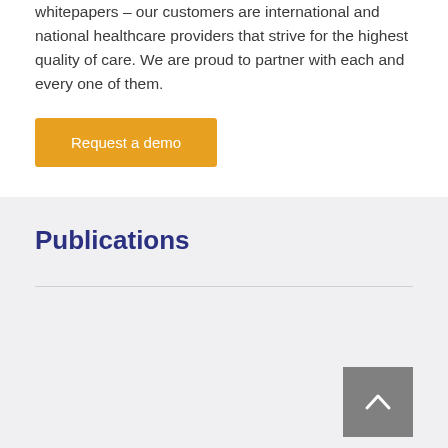whitepapers – our customers are international and national healthcare providers that strive for the highest quality of care. We are proud to partner with each and every one of them.
Request a demo
Publications